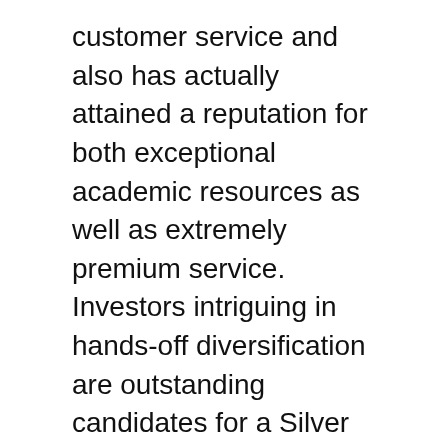customer service and also has actually attained a reputation for both exceptional academic resources as well as extremely premium service. Investors intriguing in hands-off diversification are outstanding candidates for a Silver or Gold Individual Retirement Account.
Despite the constraint of this type of individual retirement account to a single asset course, investors obtain a possibility to invest in rare-earth elements as a bush for paper financial investments. This is different than buying funds, supplies or bonds because the need to hang around doing market research to figure out the very best financial investments for a precious metals individual retirement account has been